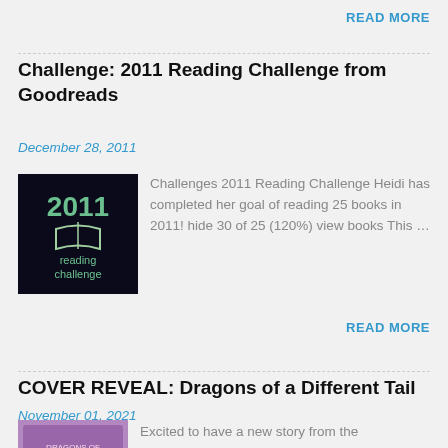READ MORE
Challenge: 2011 Reading Challenge from Goodreads
December 28, 2011
[Figure (illustration): 2011 Reading Challenge logo with an open book on dark background]
Challenges 2011 Reading Challenge Heidi has completed her goal of reading 25 books in 2011! hide 30 of 25 (120%) view books This …
READ MORE
COVER REVEAL: Dragons of a Different Tail
November 01, 2021
[Figure (illustration): Book cover for Dragons of a Different Tail anthology]
Excited to have a new story from the Ambasadora-verse in this debut anthology